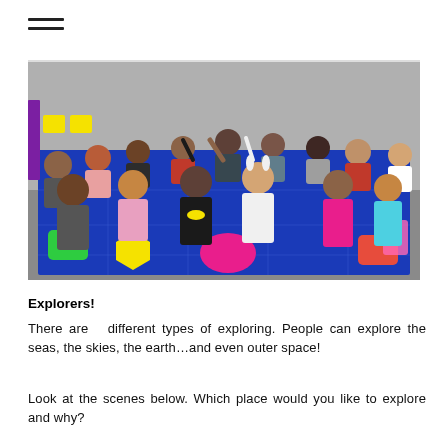[Figure (photo): A large group of young elementary school children sitting on a blue carpet with colorful shapes, waving and smiling at the camera in a classroom setting.]
Explorers!
There are  different types of exploring. People can explore the seas, the skies, the earth...and even outer space!
Look at the scenes below. Which place would you like to explore and why?